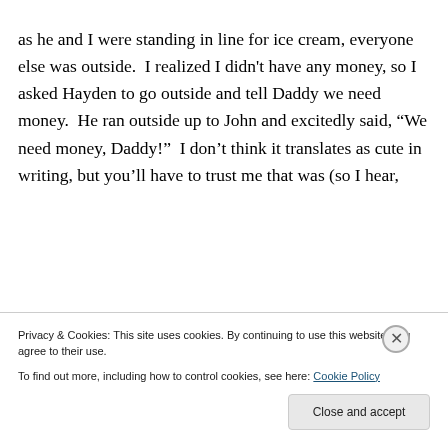as he and I were standing in line for ice cream, everyone else was outside.  I realized I didn't have any money, so I asked Hayden to go outside and tell Daddy we need money.  He ran outside up to John and excitedly said, “We need money, Daddy!”  I don’t think it translates as cute in writing, but you’ll have to trust me that was (so I hear, coming from inside) a lineup from heaven, any time, not
Privacy & Cookies: This site uses cookies. By continuing to use this website, you agree to their use.
To find out more, including how to control cookies, see here: Cookie Policy